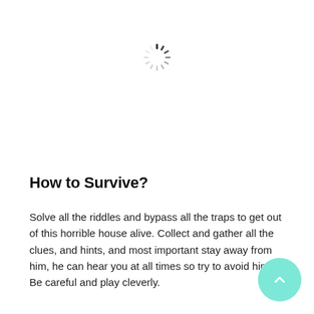[Figure (other): Loading spinner icon — circular dashed spinner with dark segments on left side]
How to Survive?
Solve all the riddles and bypass all the traps to get out of this horrible house alive. Collect and gather all the clues, and hints, and most important stay away from him, he can hear you at all times so try to avoid him. Be careful and play cleverly.